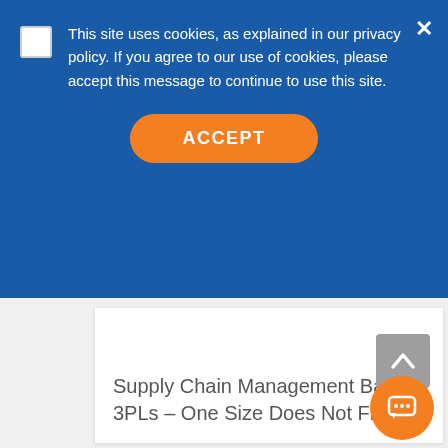This site uses cookies, as explained in our privacy policy. If you agree to our use of cookies, please accept this message to continue to use this site.
ACCEPT
Supply Chain Management Basics: 3PLs – One Size Does Not Fit All